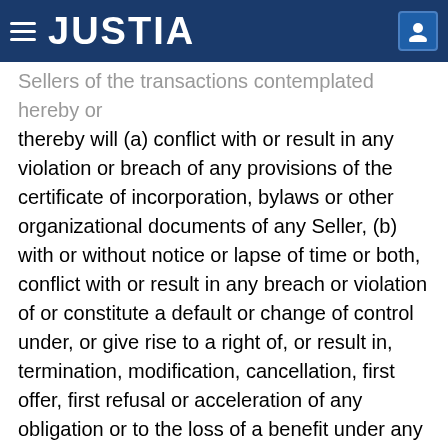JUSTIA
Sellers of the transactions contemplated hereby or thereby will (a) conflict with or result in any violation or breach of any provisions of the certificate of incorporation, bylaws or other organizational documents of any Seller, (b) with or without notice or lapse of time or both, conflict with or result in any breach or violation of or constitute a default or change of control under, or give rise to a right of, or result in, termination, modification, cancellation, first offer, first refusal or acceleration of any obligation or to the loss of a benefit under any Contract to which any Seller is a party or by or to which any of their respective properties, rights or assets are bound or subject, (c) result in the creation or imposition of any Encumbrance on any Acquired Asset other than (i) with respect to the execution and delivery of this Agreement, Permitted Pre-Closing Encumbrances and (ii) with respect to the